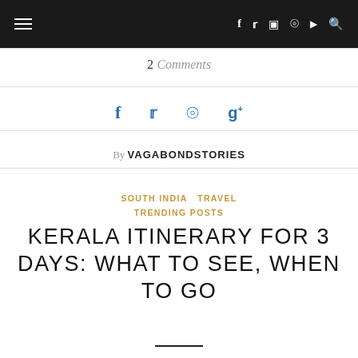Navigation bar with hamburger menu and social icons (Facebook, Twitter, Instagram, Pinterest, YouTube, Search)
2 Comments
[Figure (other): Social share icons: Facebook, Twitter, Pinterest, Google+]
By VAGABONDSTORIES
SOUTH INDIA  TRAVEL  TRENDING POSTS
KERALA ITINERARY FOR 3 DAYS: WHAT TO SEE, WHEN TO GO